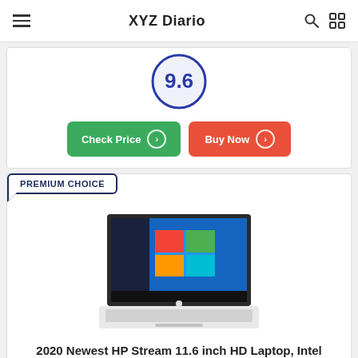XYZ Diario
[Figure (infographic): Score badge showing 9.6 rating in a blue circle]
[Figure (other): Green Check Price button and red Buy Now button]
PREMIUM CHOICE
[Figure (photo): HP Stream laptop showing Windows 10 desktop on a blue screen with white keyboard]
2020 Newest HP Stream 11.6 inch HD Laptop, Intel Celeron N4000, 4 GB RAM, 64 GB eMMC, Webcam, HDMI,